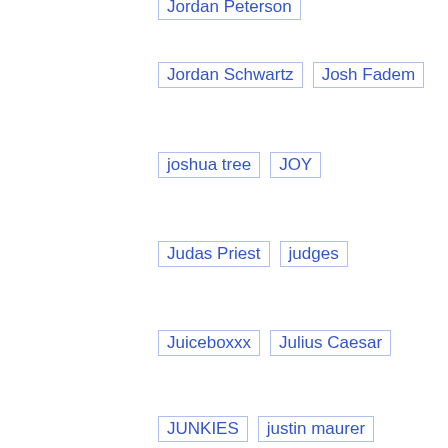Jordan Schwartz
Josh Fadem
joshua tree
JOY
Judas Priest
judges
Juiceboxxx
Julius Caesar
JUNKIES
justin maurer
K2
Kansas
Karineh Mahdessian
Kavanaugh
Kendra Horn
kenneth sonny donato
Kenzo Martinez
KERA